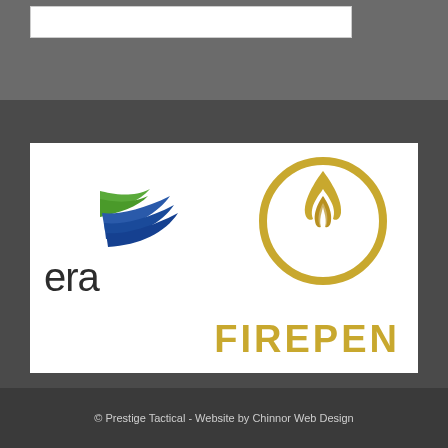[Figure (logo): Two logos side by side on white panel: partial 'era' logo with blue/green wing mark on left, and FIREPEN logo with golden flame-in-circle icon and FIREPEN text in gold on right]
© Prestige Tactical - Website by Chinnor Web Design